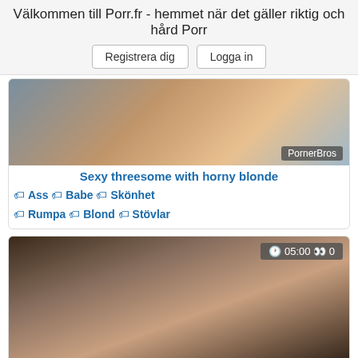Välkommen till Porr.fr - hemmet när det gäller riktig och hård Porr
Registrera dig  Logga in
[Figure (photo): Video thumbnail with PornerBros badge]
Sexy threesome with horny blonde
🏷 Ass 🏷 Babe 🏷 Skönhet 🏷 Rumpa 🏷 Blond 🏷 Stövlar
[Figure (photo): Video thumbnail showing blonde woman, duration 05:00, views 0, PornerBros badge]
Terrific anal lesbian action
🏷 Anal 🏷 Blond 🏷 Stövlar 🏷 Dildo 🏷 Lesbiskt 🏷 Leksaker
[Figure (photo): Video thumbnail, duration 17:30, views 0]